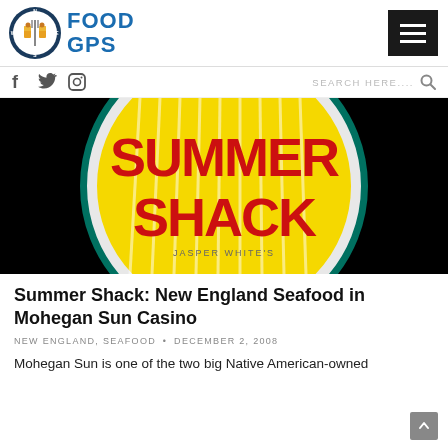[Figure (logo): Food GPS logo with compass/fork icon and blue FOOD GPS text]
FOOD GPS
f  y  (instagram icon)   SEARCH HERE....  (search icon)
[Figure (photo): Close-up photo of Summer Shack neon sign showing yellow circle with red text reading SUMMER SHACK on black background]
Summer Shack: New England Seafood in Mohegan Sun Casino
NEW ENGLAND, SEAFOOD • DECEMBER 2, 2008
Mohegan Sun is one of the two big Native American-owned